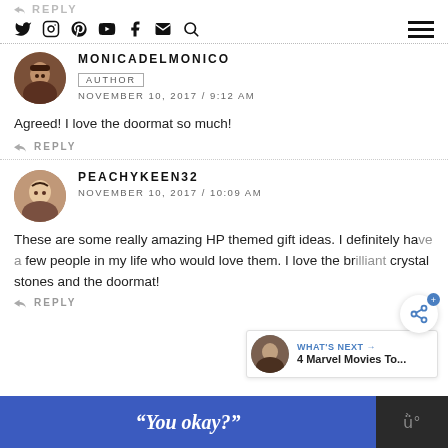↩ REPLY (partial, top)
Social icons: Twitter, Instagram, Pinterest, YouTube, Facebook, Email, Search | Hamburger menu
MONICADELMONICO
AUTHOR
NOVEMBER 10, 2017 / 9:12 AM
Agreed! I love the doormat so much!
↩ REPLY
PEACHYKEEN32
NOVEMBER 10, 2017 / 10:09 AM
These are some really amazing HP themed gift ideas. I definitely have a few people in my life who would love them. I love the br... crystal stones and the doormat!
↩ REPLY
"You okay?"
WHAT'S NEXT → 4 Marvel Movies To...